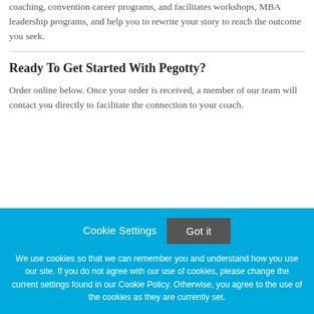coaching, convention career programs, and facilitates workshops, MBA leadership programs, and help you to rewrite your story to reach the outcome you seek.
Ready To Get Started With Pegotty?
Order online below. Once your order is received, a member of our team will contact you directly to facilitate the connection to your coach.
Cookie Settings
Got it
We use cookies so that we can remember you and understand how you use our site. If you do not agree with our use of cookies, please change the current settings found in our Cookie Policy. Otherwise, you agree to the use of the cookies as they are currently set.